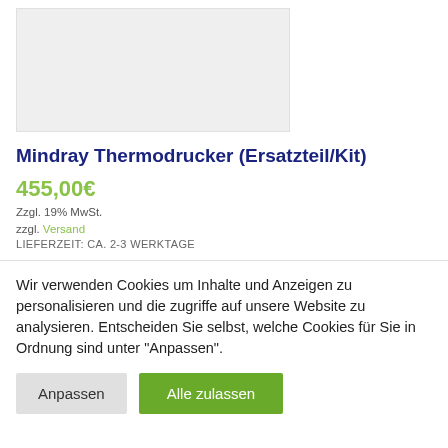[Figure (photo): Product image placeholder — light grey rectangle]
Mindray Thermodrucker (Ersatzteil/Kit)
455,00€
Zzgl. 19% MwSt.
zzgl. Versand
LIEFERZEIT: CA. 2-3 WERKTAGE
Wir verwenden Cookies um Inhalte und Anzeigen zu personalisieren und die zugriffe auf unsere Website zu analysieren. Entscheiden Sie selbst, welche Cookies für Sie in Ordnung sind unter "Anpassen".
Anpassen   Alle zulassen